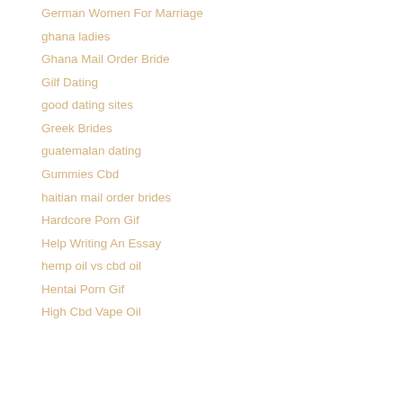German Women For Marriage
ghana ladies
Ghana Mail Order Bride
Gilf Dating
good dating sites
Greek Brides
guatemalan dating
Gummies Cbd
haitian mail order brides
Hardcore Porn Gif
Help Writing An Essay
hemp oil vs cbd oil
Hentai Porn Gif
High Cbd Vape Oil